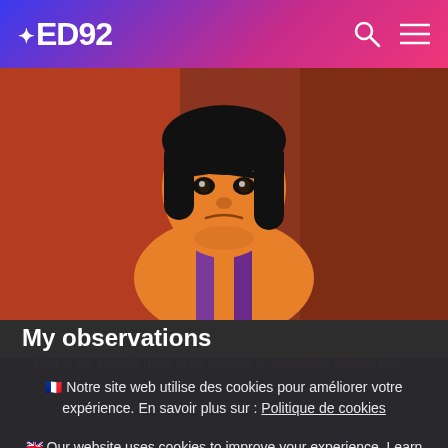AED92
[Figure (photo): Animated cartoon character Aladdin looking serious/stern, against warm orange-red background]
My observations
First of all, you will have to go through a reservation system that
🇫🇷 Notre site web utilise des cookies pour améliorer votre expérience. En savoir plus sur : Politique de cookies
🇬🇧 Our website uses cookies to improve your experience. Learn more about: Cookies policy
Accept